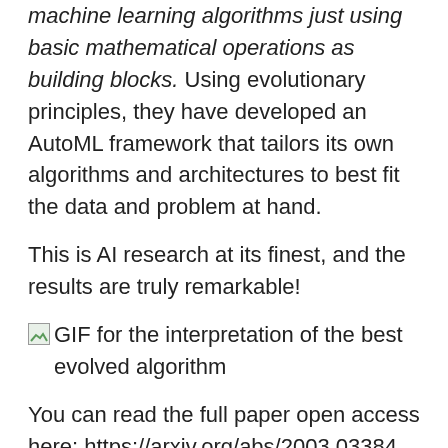machine learning algorithms just using basic mathematical operations as building blocks. Using evolutionary principles, they have developed an AutoML framework that tailors its own algorithms and architectures to best fit the data and problem at hand.
This is AI research at its finest, and the results are truly remarkable!
[Figure (other): Broken image placeholder with alt text: GIF for the interpretation of the best evolved algorithm]
You can read the full paper open access here: https://arxiv.org/abs/2003.03384 (quick download link)
The original code is posted here on github: github.com/google-research/google-